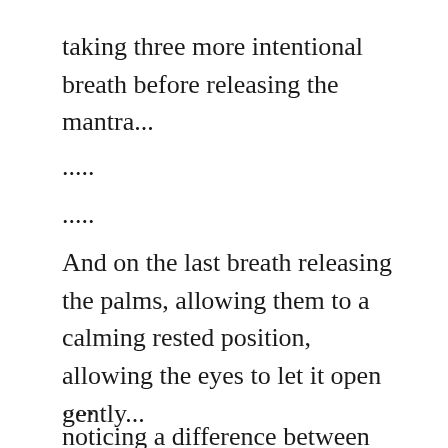taking three more intentional breath before releasing the mantra...
.....
.....
And on the last breath releasing the palms, allowing them to a calming rested position, allowing the eyes to let it open gently...
.....
noticing a difference between the